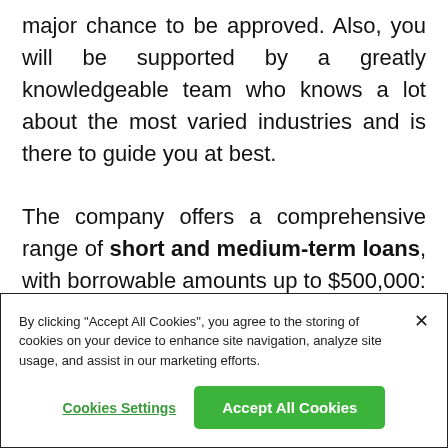major chance to be approved. Also, you will be supported by a greatly knowledgeable team who knows a lot about the most varied industries and is there to guide you at best.

The company offers a comprehensive range of short and medium-term loans, with borrowable amounts up to $500,000: small business loans, working
By clicking "Accept All Cookies", you agree to the storing of cookies on your device to enhance site navigation, analyze site usage, and assist in our marketing efforts.